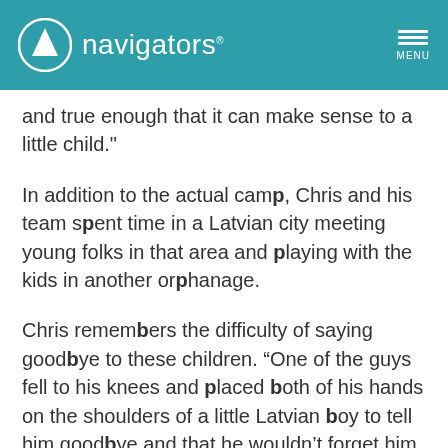navigators
and true enough that it can make sense to a little child."
In addition to the actual camp, Chris and his team spent time in a Latvian city meeting young folks in that area and playing with the kids in another orphanage.
Chris remembers the difficulty of saying goodbye to these children. “One of the guys fell to his knees and placed both of his hands on the shoulders of a little Latvian boy to tell him goodbye and that he wouldn’t forget him. Both of them had tears in their eyes."
He also remembers a group of Latvian